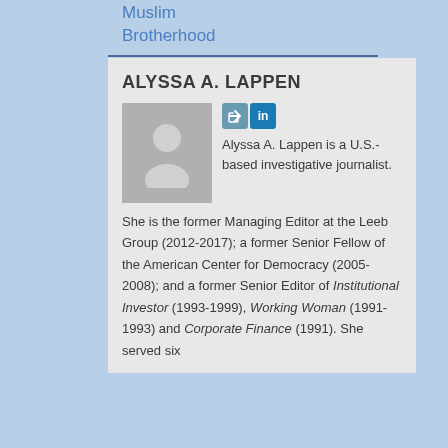Muslim Brotherhood
ALYSSA A. LAPPEN
[Figure (photo): Gray placeholder profile silhouette image]
Alyssa A. Lappen is a U.S.-based investigative journalist. She is the former Managing Editor at the Leeb Group (2012-2017); a former Senior Fellow of the American Center for Democracy (2005-2008); and a former Senior Editor of Institutional Investor (1993-1999), Working Woman (1991-1993) and Corporate Finance (1991). She served six